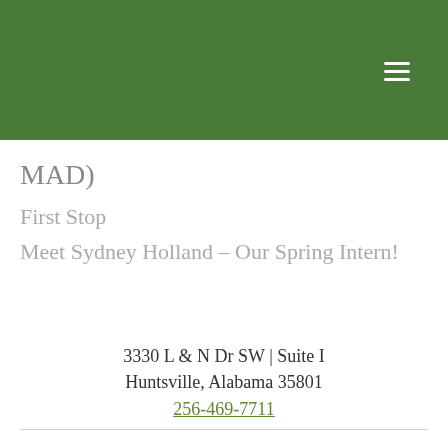MAD)
First Stop
Meet Sydney Holland – Our Spring Intern!
3330 L & N Dr SW | Suite I
Huntsville, Alabama 35801
256-469-7711